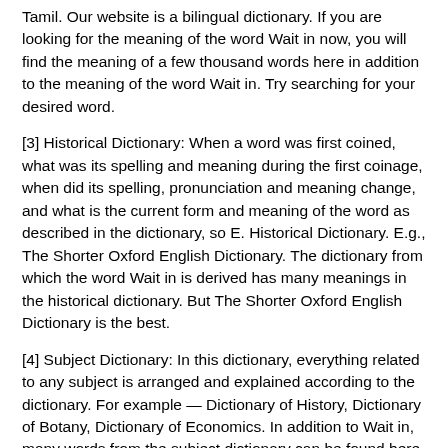Tamil. Our website is a bilingual dictionary. If you are looking for the meaning of the word Wait in now, you will find the meaning of a few thousand words here in addition to the meaning of the word Wait in. Try searching for your desired word.
[3] Historical Dictionary: When a word was first coined, what was its spelling and meaning during the first coinage, when did its spelling, pronunciation and meaning change, and what is the current form and meaning of the word as described in the dictionary, so E. Historical Dictionary. E.g., The Shorter Oxford English Dictionary. The dictionary from which the word Wait in is derived has many meanings in the historical dictionary. But The Shorter Oxford English Dictionary is the best.
[4] Subject Dictionary: In this dictionary, everything related to any subject is arranged and explained according to the dictionary. For example — Dictionary of History, Dictionary of Botany, Dictionary of Economics. In addition to Wait in, many words from the subject dictionary can be found here. There are several dictionaries available on the market.